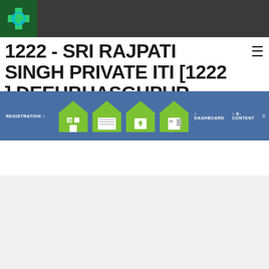[Figure (screenshot): Website header screenshot showing a green logo with medical cross symbol on dark grey bar, followed by institution title text and navigation overlay with house icons]
1222 - SRI RAJPATI SINGH PRIVATE ITI [1222 ] DEEHBHASGHPUR SULTANPUR